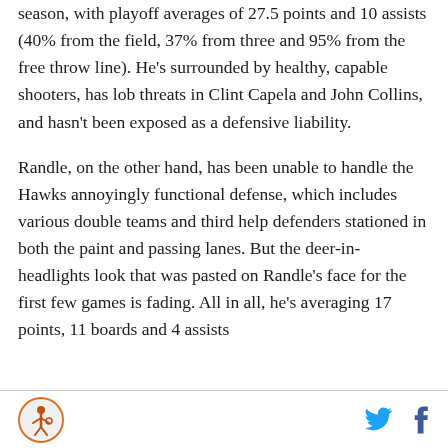season, with playoff averages of 27.5 points and 10 assists (40% from the field, 37% from three and 95% from the free throw line). He's surrounded by healthy, capable shooters, has lob threats in Clint Capela and John Collins, and hasn't been exposed as a defensive liability.
Randle, on the other hand, has been unable to handle the Hawks annoyingly functional defense, which includes various double teams and third help defenders stationed in both the paint and passing lanes. But the deer-in-headlights look that was pasted on Randle's face for the first few games is fading. All in all, he's averaging 17 points, 11 boards and 4 assists
[logo] [twitter] [facebook]